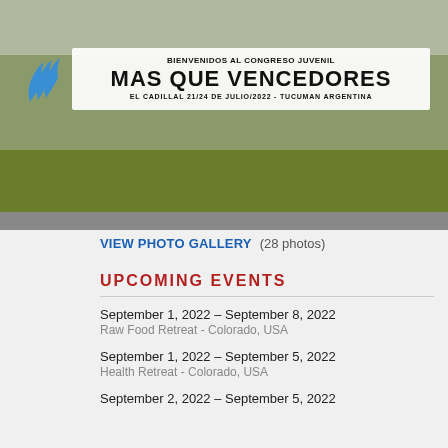[Figure (photo): Outdoor photo showing a large white banner reading 'BIENVENIDOS AL CONGRESO JUVENIL MAS QUE VENCEDORES EL CADILLAL 21/24 de JULIO/2022 - TUCUMAN ARGENTINA' with a blue SDA logo on the left, in front of a building with yellow-green bushes spelling letters in the foreground]
VIEW PHOTO GALLERY   (28 photos)
UPCOMING EVENTS
September 1, 2022 – September 8, 2022
Raw Food Retreat - Colorado, USA
September 1, 2022 – September 5, 2022
Health Retreat - Colorado, USA
September 2, 2022 – September 5, 2022